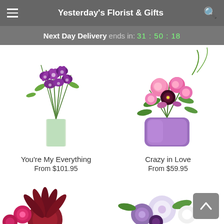Yesterday's Florist & Gifts
Next Day Delivery ends in: 31 : 50 : 18
[Figure (photo): Purple dendrobium orchid bouquet in a clear glass cylinder vase]
You're My Everything
From $101.95
[Figure (photo): Pink and dark purple mixed flower arrangement in a lavender/purple square vase]
Crazy in Love
From $59.95
[Figure (photo): Dark red and burgundy flower arrangement with pointed petals, partially visible at bottom]
[Figure (photo): White and purple mixed flower arrangement, partially visible at bottom]